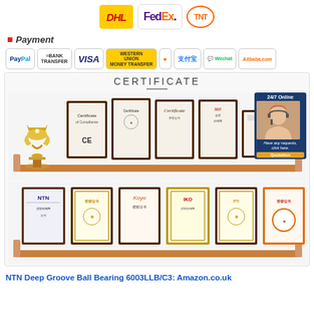[Figure (logo): Shipping carrier logos: DHL, FedEx, TNT]
* Payment
[Figure (logo): Payment method logos: PayPal, Bank Transfer, VISA, Western Union Money Transfer, Mastercard, 支付宝 (Alipay), Wechat, Alibaba.com]
[Figure (photo): Certificate section showing two shelves of framed certificates and awards including trophy, CE certificates, NTN, Koyo, IKO and other brand certificates, with 24/7 online customer service overlay]
NTN Deep Groove Ball Bearing 6003LLB/C3: Amazon.co.uk